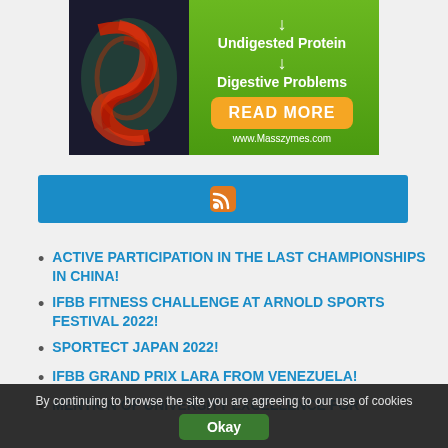[Figure (infographic): Advertisement banner for Masszymes.com showing digestive system illustration with text 'Undigested Protein → Digestive Problems', a READ MORE button, and website URL www.Masszymes.com]
[Figure (other): Blue RSS feed bar with RSS icon]
ACTIVE PARTICIPATION IN THE LAST CHAMPIONSHIPS IN CHINA!
IFBB FITNESS CHALLENGE AT ARNOLD SPORTS FESTIVAL 2022!
SPORTECT JAPAN 2022!
IFBB GRAND PRIX LARA FROM VENEZUELA!
MENTION OF UNIVERSITY EXCELLENCE FOR
By continuing to browse the site you are agreeing to our use of cookies